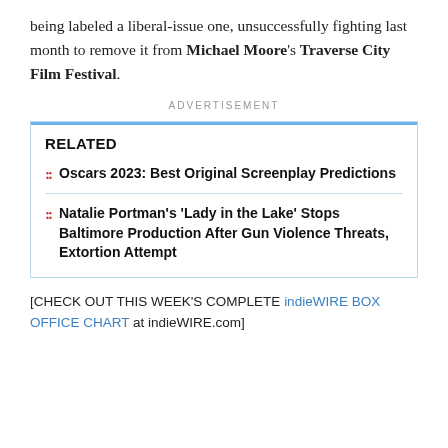being labeled a liberal-issue one, unsuccessfully fighting last month to remove it from Michael Moore's Traverse City Film Festival.
ADVERTISEMENT
RELATED
Oscars 2023: Best Original Screenplay Predictions
Natalie Portman's 'Lady in the Lake' Stops Baltimore Production After Gun Violence Threats, Extortion Attempt
[CHECK OUT THIS WEEK'S COMPLETE indieWIRE BOX OFFICE CHART at indieWIRE.com]